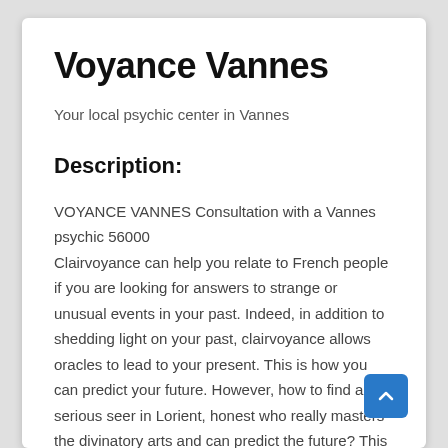Voyance Vannes
Your local psychic center in Vannes
Description:
VOYANCE VANNES Consultation with a Vannes psychic 56000
Clairvoyance can help you relate to French people if you are looking for answers to strange or unusual events in your past. Indeed, in addition to shedding light on your past, clairvoyance allows oracles to lead to your present. This is how you can predict your future. However, how to find a serious seer in Lorient, honest who really masters the divinatory arts and can predict the future? This is the question that everyone